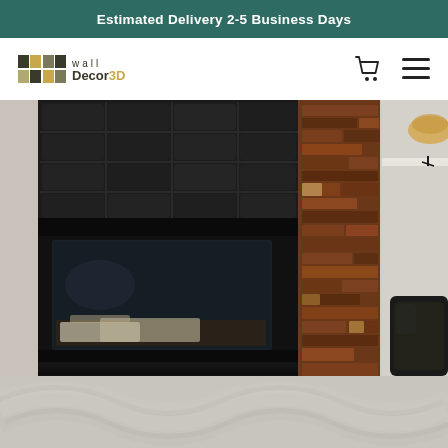Estimated Delivery 2-5 Business Days
[Figure (logo): Wall Decor 3D brand logo with grid pattern and text]
[Figure (photo): A living room fireplace with black tile surround and wood plank wall cladding on the right side, with a dark leather chair partially visible]
[Figure (photo): Bottom strip preview of another product photo showing light-colored textured wall panels]